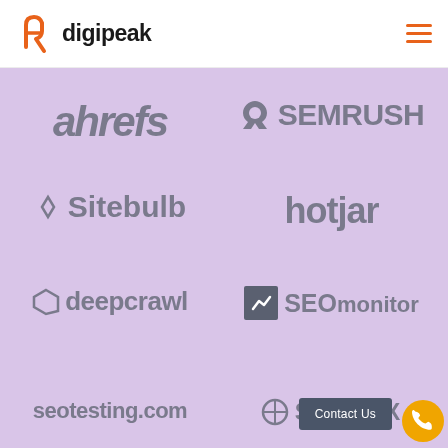[Figure (logo): Digipeak company logo with orange icon and dark text]
[Figure (infographic): Grid of SEO tool logos on lavender background: ahrefs, SEMRUSH, Sitebulb, hotjar, deepcrawl, SEOmonitor, seotesting.com, SISTRIX]
Contact Us